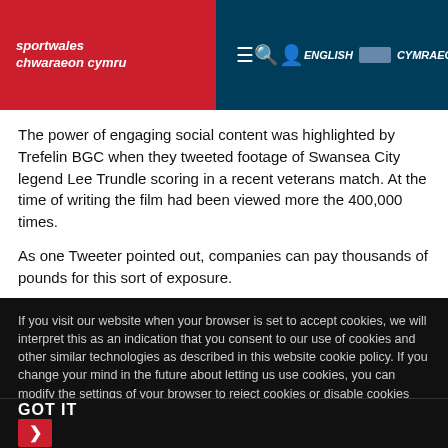sportwales chwaraeon cymru | ENGLISH | CYMRAEG
The power of engaging social content was highlighted by Trefelin BGC when they tweeted footage of Swansea City legend Lee Trundle scoring in a recent veterans match. At the time of writing the film had been viewed more the 400,000 times.
As one Tweeter pointed out, companies can pay thousands of pounds for this sort of exposure.
If you visit our website when your browser is set to accept cookies, we will interpret this as an indication that you consent to our use of cookies and other similar technologies as described in this website cookie policy. If you change your mind in the future about letting us use cookies, you can modify the settings of your browser to reject cookies or disable cookies completely.
GOT IT